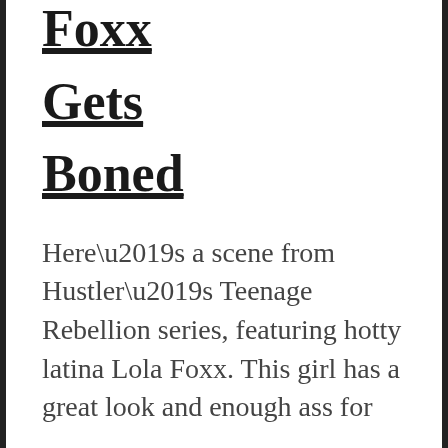Foxx Gets Boned
Here’s a scene from Hustler’s Teenage Rebellion series, featuring hotty latina Lola Foxx. This girl has a great look and enough ass for